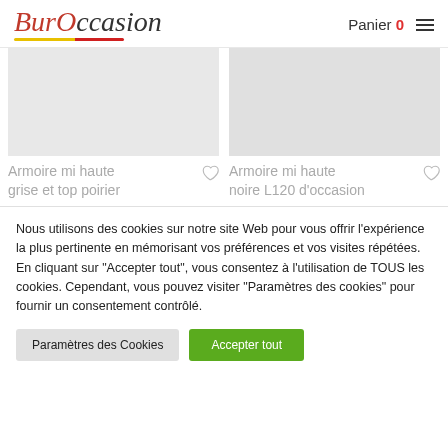BurOccasion — Panier 0
[Figure (photo): Product image placeholder grey rectangle for Armoire mi haute grise et top poirier]
Armoire mi haute grise et top poirier
[Figure (photo): Product image placeholder grey rectangle for Armoire mi haute noire L120 d'occasion]
Armoire mi haute noire L120 d'occasion
Nous utilisons des cookies sur notre site Web pour vous offrir l'expérience la plus pertinente en mémorisant vos préférences et vos visites répétées. En cliquant sur "Accepter tout", vous consentez à l'utilisation de TOUS les cookies. Cependant, vous pouvez visiter "Paramètres des cookies" pour fournir un consentement contrôlé.
Paramètres des Cookies
Accepter tout